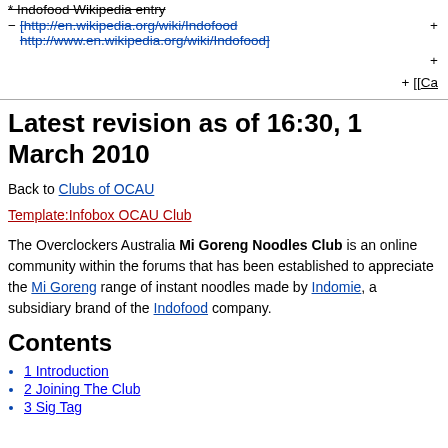* Indofood Wikipedia entry
- [http://en.wikipedia.org/wiki/Indofood http://www.en.wikipedia.org/wiki/Indofood] +
+ 
+ [[Ca
Latest revision as of 16:30, 1 March 2010
Back to Clubs of OCAU
Template:Infobox OCAU Club
The Overclockers Australia Mi Goreng Noodles Club is an online community within the forums that has been established to appreciate the Mi Goreng range of instant noodles made by Indomie, a subsidiary brand of the Indofood company.
Contents
1 Introduction
2 Joining The Club
3 Sig Tag